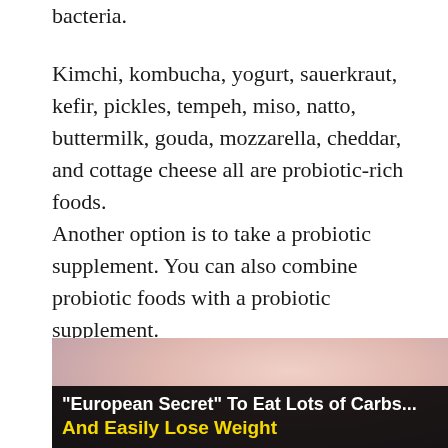bacteria.
Kimchi, kombucha, yogurt, sauerkraut, kefir, pickles, tempeh, miso, natto, buttermilk, gouda, mozzarella, cheddar, and cottage cheese all are probiotic-rich foods.
Another option is to take a probiotic supplement. You can also combine probiotic foods with a probiotic supplement.
In the end, it’s all about good gut health.
[Figure (photo): Close-up photo of a woman's face with light skin and blonde hair, with an advertisement overlay at the bottom reading: "European Secret" To Eat Lots of Carbs... And Easily Lose Weight]